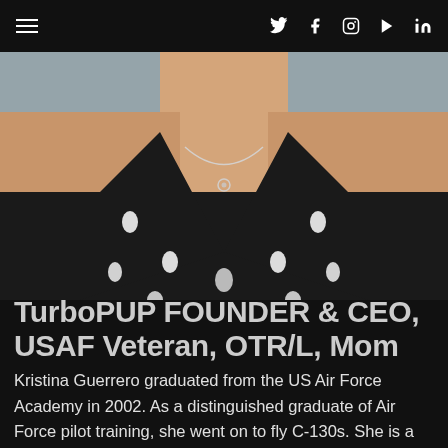≡  🐦  f  📷  ▶  in
[Figure (photo): Close-up photo of a woman wearing a black sleeveless dress with white polka dots and a silver necklace, photographed from shoulders to mid-torso.]
TurboPUP FOUNDER & CEO, USAF Veteran, OTR/L, Mom
Kristina Guerrero graduated from the US Air Force Academy in 2002. As a distinguished graduate of Air Force pilot training, she went on to fly C-130s. She is a decorated Air Force Veteran, and proud recipient of two Combat